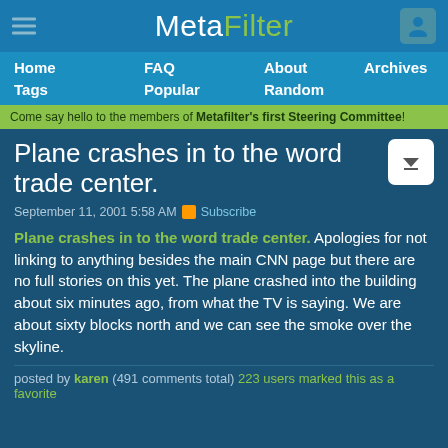MetaFilter
Home  FAQ  About  Archives  Tags  Popular  Random
Come say hello to the members of Metafilter's first Steering Committee!
Plane crashes in to the word trade center.
September 11, 2001 5:58 AM  Subscribe
Plane crashes in to the word trade center. Apologies for not linking to anything besides the main CNN page but there are no full stories on this yet. The plane crashed into the building about six minutes ago, from what the TV is saying. We are about sixty blocks north and we can see the smoke over the skyline.
posted by karen (491 comments total) 223 users marked this as a favorite